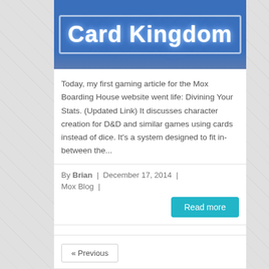[Figure (photo): Card Kingdom store sign - blue illuminated sign with white bold text reading 'Card Kingdom']
Today, my first gaming article for the Mox Boarding House website went life: Divining Your Stats. (Updated Link) It discusses character creation for D&D and similar games using cards instead of dice. It's a system designed to fit in-between the...
By Brian  |  December 17, 2014  |  Mox Blog  |
Read more
« Previous
Recent Posts